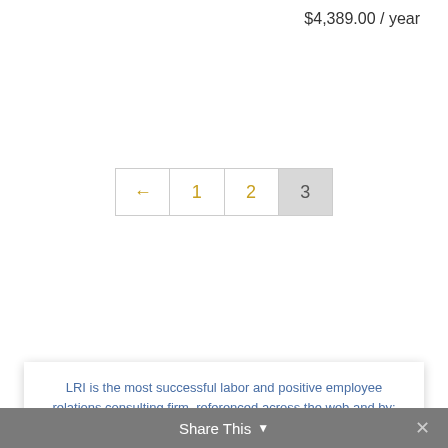$4,389.00 / year
[Figure (screenshot): Pagination control showing back arrow, page 1, page 2, page 3 (highlighted)]
[Figure (infographic): Card showing LRI company social proof with logos: New York Post, CNBC, Fox Business, SHRM, Forbes, Human Resource Executive Online, Inc. 5000 Top 100]
Share This  ×